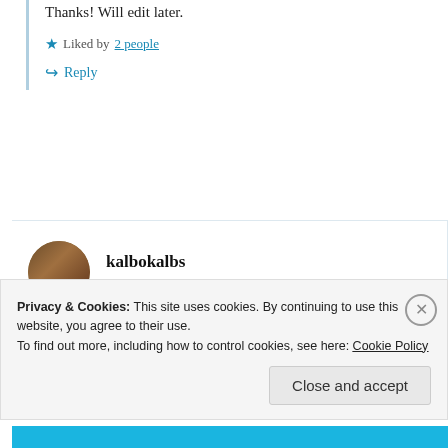Thanks! Will edit later.
★ Liked by 2 people
↪ Reply
kalbokalbs
08/04/2021 @ 09:10 at 09:10
Copies all. Thank you.
Privacy & Cookies: This site uses cookies. By continuing to use this website, you agree to their use.
To find out more, including how to control cookies, see here: Cookie Policy
Close and accept